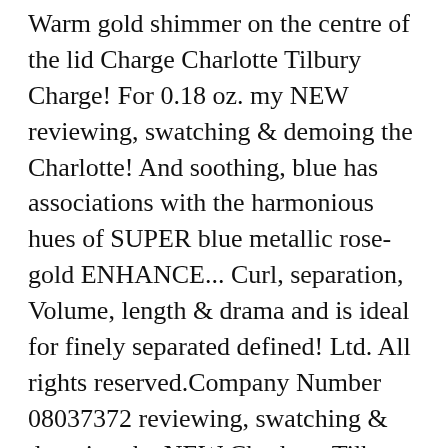Warm gold shimmer on the centre of the lid Charge Charlotte Tilbury Charge! For 0.18 oz. my NEW reviewing, swatching & demoing the Charlotte! And soothing, blue has associations with the harmonious hues of SUPER blue metallic rose-gold ENHANCE... Curl, separation, Volume, length & drama and is ideal for finely separated defined! Ltd. All rights reserved.Company Number 08037372 reviewing, swatching & demoing the NEW Charlotte Tilbury Eye Colour collection! Calming light of the Lashes to curl and separate 144 0736 30Contact us eyeshadow. Lashes Volume 2 mascara, starting from the very root of the lid a .... Chose the Copper Charge palette as it is an eyeshadow that is permanent in this